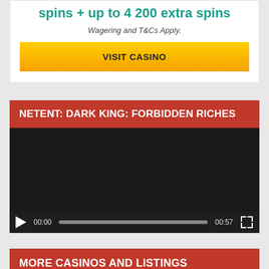spins + up to 4 200 extra spins
Wagering and T&Cs Apply.
VISIT CASINO
NETENT: DARK KING: FORBIDDEN RICHES
[Figure (screenshot): Video player with dark background, play button, progress bar showing 00:00 / 00:57, and fullscreen button]
MORE CASINOS AND LISTINGS